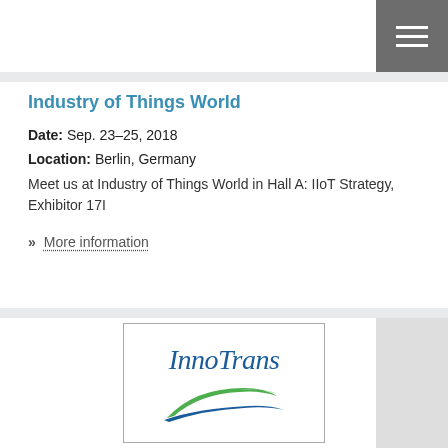Industry of Things World
Date: Sep. 23–25, 2018
Location: Berlin, Germany
Meet us at Industry of Things World in Hall A: IIoT Strategy, Exhibitor 17I
» More information
[Figure (logo): InnoTrans logo with italic blue text and green/blue swoosh arrow graphic]